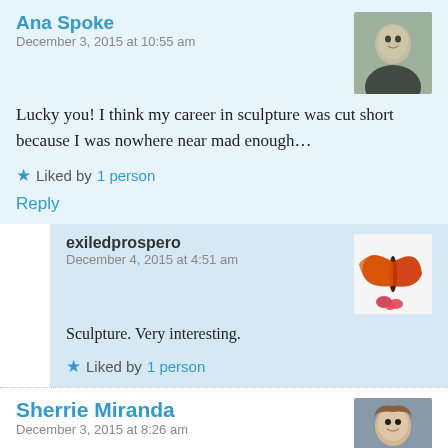Ana Spoke
December 3, 2015 at 10:55 am
Lucky you! I think my career in sculpture was cut short because I was nowhere near mad enough…
Liked by 1 person
Reply
exiledprospero
December 4, 2015 at 4:51 am
Sculpture. Very interesting.
Liked by 1 person
Sherrie Miranda
December 3, 2015 at 8:26 am